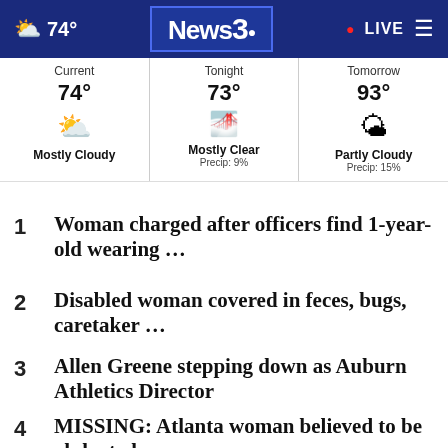News3 · 74° · LIVE
| Current | Tonight | Tomorrow |
| --- | --- | --- |
| 74° | 73° | 93° |
| Mostly Cloudy | Mostly Clear
Precip: 9% | Partly Cloudy
Precip: 15% |
1  Woman charged after officers find 1-year-old wearing …
2  Disabled woman covered in feces, bugs, caretaker …
3  Allen Greene stepping down as Auburn Athletics Director
4  MISSING: Atlanta woman believed to be abducted may …